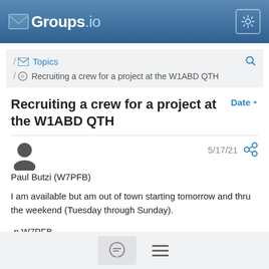Groups.io
Topics / Recruiting a crew for a project at the W1ABD QTH
Recruiting a crew for a project at the W1ABD QTH
Paul Butzi (W7PFB) — 5/17/21
I am available but am out of town starting tomorrow and thru the weekend (Tuesday through Sunday).

-p W7PFB
73, Don't forget to smile and have fun!